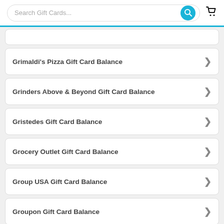Search Gift Cards...
Grimaldi's Pizza Gift Card Balance
Grinders Above & Beyond Gift Card Balance
Gristedes Gift Card Balance
Grocery Outlet Gift Card Balance
Group USA Gift Card Balance
Groupon Gift Card Balance
Grub Burger Bar Gift Card Balance